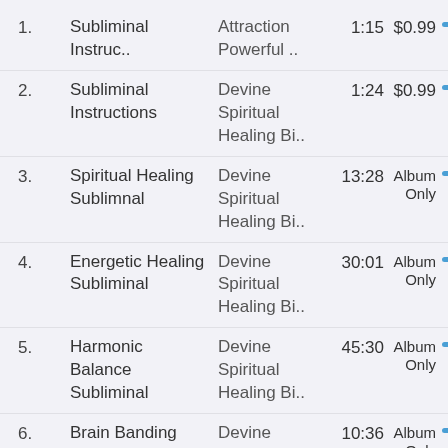1. Subliminal Instruc.. | Attraction Powerful .. | 1:15 | $0.99
2. Subliminal Instructions | Devine Spiritual Healing Bi.. | 1:24 | $0.99
3. Spiritual Healing Sublimnal | Devine Spiritual Healing Bi.. | 13:28 | Album Only
4. Energetic Healing Subliminal | Devine Spiritual Healing Bi.. | 30:01 | Album Only
5. Harmonic Balance Subliminal | Devine Spiritual Healing Bi.. | 45:30 | Album Only
6. Brain Banding Subliminal | Devine Spiritual | 10:36 | Album Only